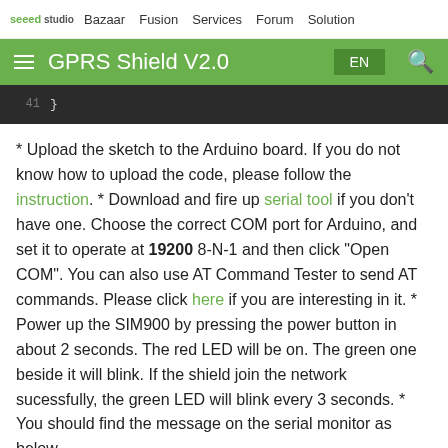seeed studio  Bazaar  Fusion  Services  Forum  Solution
GPRS Shield V2.0
[Figure (screenshot): Code block showing line 41 with closing brace '}']
* Upload the sketch to the Arduino board. If you do not know how to upload the code, please follow the instruction. * Download and fire up serial tool if you don't have one. Choose the correct COM port for Arduino, and set it to operate at 19200 8-N-1 and then click "Open COM". You can also use AT Command Tester to send AT commands. Please click here if you are interesting in it. * Power up the SIM900 by pressing the power button in about 2 seconds. The red LED will be on. The green one beside it will blink. If the shield join the network sucessfully, the green LED will blink every 3 seconds. * You should find the message on the serial monitor as below